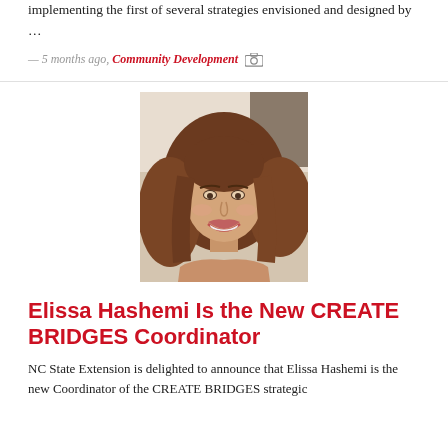implementing the first of several strategies envisioned and designed by …
— 5 months ago, Community Development [camera icon]
[Figure (photo): Portrait photo of Elissa Hashemi, a woman with long wavy brown hair, smiling, wearing a strapless or off-shoulder top, light background.]
Elissa Hashemi Is the New CREATE BRIDGES Coordinator
NC State Extension is delighted to announce that Elissa Hashemi is the new Coordinator of the CREATE BRIDGES strategic